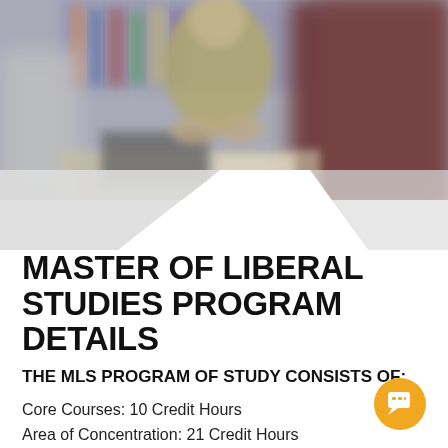[Figure (photo): A blurred classroom/study photo showing a man in a green jacket gesturing with his hands across a table, with a blurred person in a dark maroon sweater in the foreground right, and bookshelves visible in the background. A laptop and open book are on the table.]
MASTER OF LIBERAL STUDIES PROGRAM DETAILS
THE MLS PROGRAM OF STUDY CONSISTS OF:
Core Courses: 10 Credit Hours
Area of Concentration: 21 Credit Hours
Comprehensive Exam